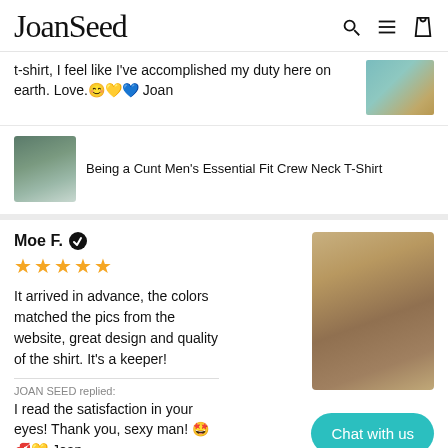JoanSeed
t-shirt, I feel like I've accomplished my duty here on earth. Love. 😊💛💙 Joan
Being a Cunt Men's Essential Fit Crew Neck T-Shirt
Moe F. ✔
★★★★★
It arrived in advance, the colors matched the pics from the website, great design and quality of the shirt. It's a keeper!
JOAN SEED replied:
I read the satisfaction in your eyes! Thank you, sexy man! 🤩💋💛 Joan
Chat with us
Tempus Fugit Men's Essential Fit Crew Neck T-Shirt